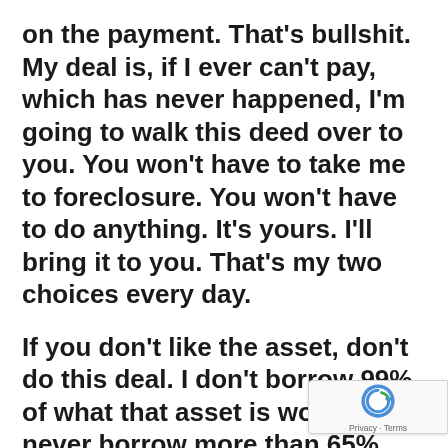on the payment. That's bullshit. My deal is, if I ever can't pay, which has never happened, I'm going to walk this deed over to you. You won't have to take me to foreclosure. You won't have to do anything. It's yours. I'll bring it to you. That's my two choices every day.
If you don't like the asset, don't do this deal. I don't borrow 99% of what that asset is worth. I never borrow more than 65%. My average borrowing is like 55%. That's a large part why you go non-recourse is because you don't know a whole lot. That's a reason why I can have $26 million of private people's money. I was selling them the same way you're selling them. This is a perfectly good asset backing this up. If I'm not right